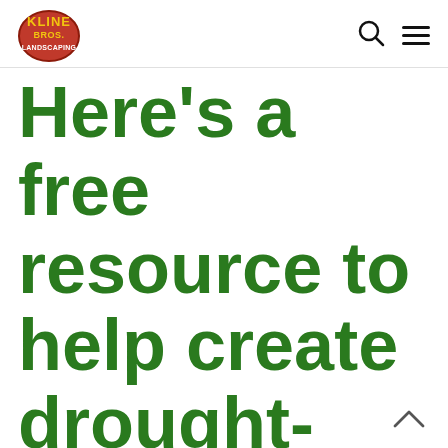Kline Bros. Landscaping — navigation header with logo, search icon, and menu icon
Here's a free resource to help create drought-tolerant, water-wise landscapes?